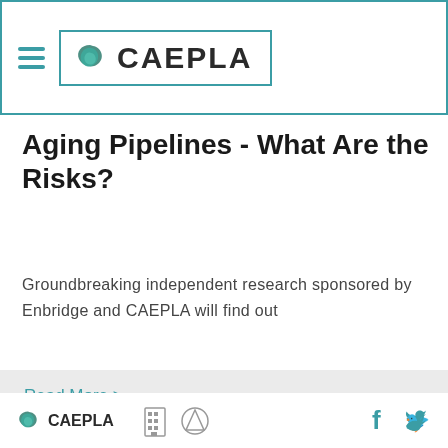CAEPLA
[Figure (photo): Close-up photo of several metal pipelines stacked together, showing weathered surfaces in shades of gray, green, and purple.]
Aging Pipelines - What Are the Risks?
Groundbreaking independent research sponsored by Enbridge and CAEPLA will find out
Read More >
CAEPLA